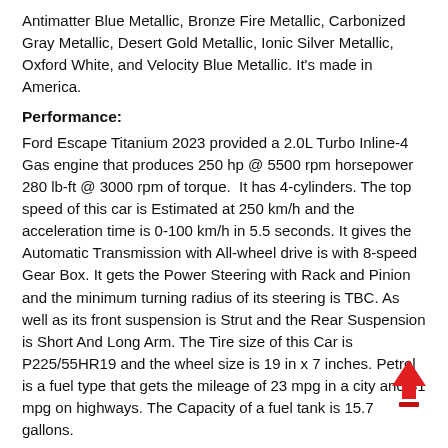Antimatter Blue Metallic, Bronze Fire Metallic, Carbonized Gray Metallic, Desert Gold Metallic, Ionic Silver Metallic, Oxford White, and Velocity Blue Metallic. It's made in America.
Performance:
Ford Escape Titanium 2023 provided a 2.0L Turbo Inline-4 Gas engine that produces 250 hp @ 5500 rpm horsepower 280 lb-ft @ 3000 rpm of torque. It has 4-cylinders. The top speed of this car is Estimated at 250 km/h and the acceleration time is 0-100 km/h in 5.5 seconds. It gives the Automatic Transmission with All-wheel drive is with 8-speed Gear Box. It gets the Power Steering with Rack and Pinion and the minimum turning radius of its steering is TBC. As well as its front suspension is Strut and the Rear Suspension is Short And Long Arm. The Tire size of this Car is P225/55HR19 and the wheel size is 19 in x 7 inches. Petrol is a fuel type that gets the mileage of 23 mpg in a city and 31 mpg on highways. The Capacity of a fuel tank is 15.7 gallons.
Dimensions And Weight:
The Dimension of this Car is 181.1 inches in length, 74.1 inches in width, 63.4 inches in height and the wheelbase is